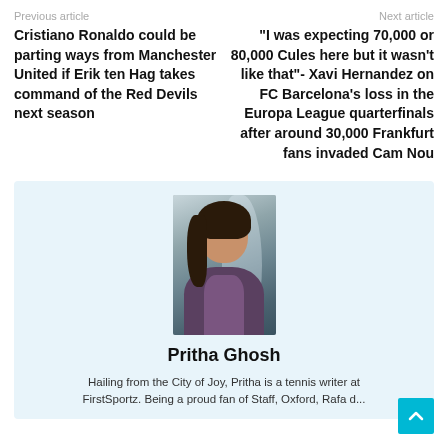Previous article    Next article
Cristiano Ronaldo could be parting ways from Manchester United if Erik ten Hag takes command of the Red Devils next season
“I was expecting 70,000 or 80,000 Cules here but it wasn’t like that”- Xavi Hernandez on FC Barcelona’s loss in the Europa League quarterfinals after around 30,000 Frankfurt fans invaded Cam Nou
[Figure (photo): Portrait photo of Pritha Ghosh, a young woman with dark hair, smiling slightly, wearing a patterned top]
Pritha Ghosh
Hailing from the City of Joy, Pritha is a tennis writer at FirstSportz. Being a proud fan of Staff, Oxford, Rafa d...